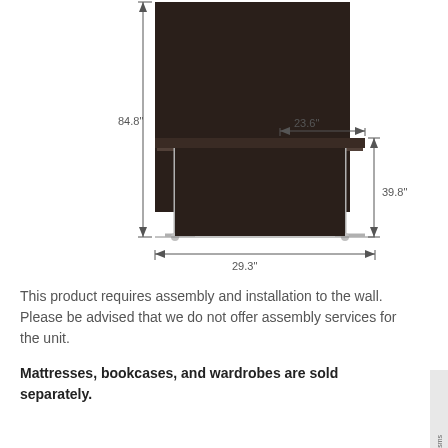[Figure (engineering-diagram): Furniture dimension diagram showing a wall-mounted murphy bed unit with a fold-out desk surface on metal legs. Annotated with three measurements: 84.8" height on the left side, 23.6" depth of the desk surface on the top right, and 39.8" height of the lower cabinet section on the right, and 29.3" width along the bottom.]
This product requires assembly and installation to the wall. Please be advised that we do not offer assembly services for the unit.
Mattresses, bookcases, and wardrobes are sold separately.